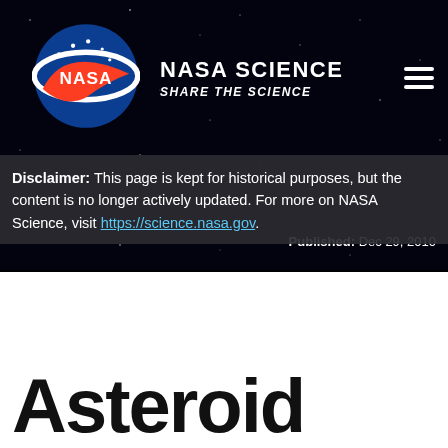NASA SCIENCE — SHARE THE SCIENCE
Disclaimer: This page is kept for historical purposes, but the content is no longer actively updated. For more on NASA Science, visit https://science.nasa.gov.
Published: Dec 29, 2010
Asteroid